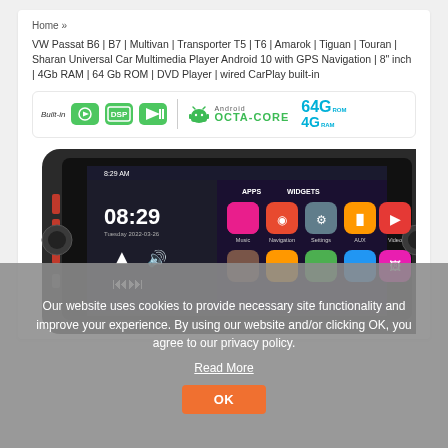Home »
VW Passat B6 | B7 | Multivan | Transporter T5 | T6 | Amarok | Tiguan | Touran | Sharan Universal Car Multimedia Player Android 10 with GPS Navigation | 8" inch | 4Gb RAM | 64 Gb ROM | DVD Player | wired CarPlay built-in
[Figure (infographic): Feature bar showing Built-in CarPlay icon, DSP icon, video icon, Android OCTA-CORE logo, 64G ROM and 4G RAM spec badges]
[Figure (photo): Product photo of a car multimedia player showing Android interface with 08:29 time display, apps including Music, Navigation, Settings, AUX, Video]
Our website uses cookies to provide necessary site functionality and improve your experience. By using our website and/or clicking OK, you agree to our privacy policy.
Read More
OK